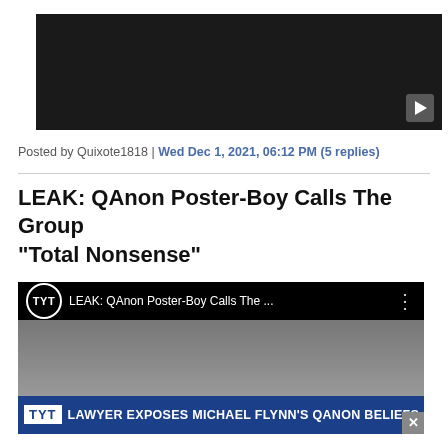[Figure (screenshot): Dark video player placeholder with play button in bottom right corner]
Posted by Quixote1818 | Wed Dec 1, 2021, 06:12 PM (5 replies)
LEAK: QAnon Poster-Boy Calls The Group "Total Nonsense"
[Figure (screenshot): TYT YouTube video embed showing 'LEAK: QAnon Poster-Boy Calls The...' with a banner reading 'LAWYER EXPOSES MICHAEL FLYNN'S QANON BELIEFS']